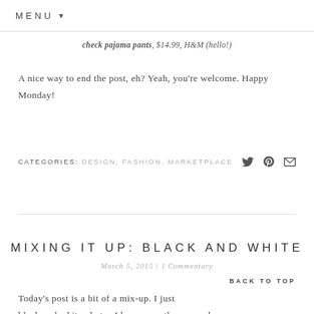MENU ▼
check pajama pants, $14.99, H&M (hello!)
A nice way to end the post, eh? Yeah, you're welcome. Happy Monday!
CATEGORIES: DESIGN, FASHION, MARKETPLACE
MIXING IT UP: BLACK AND WHITE
March 5, 2015 | 1 Commentary
BACK TO TOP
Today's post is a bit of a mix-up. I just black and white photos I have recently snapped...